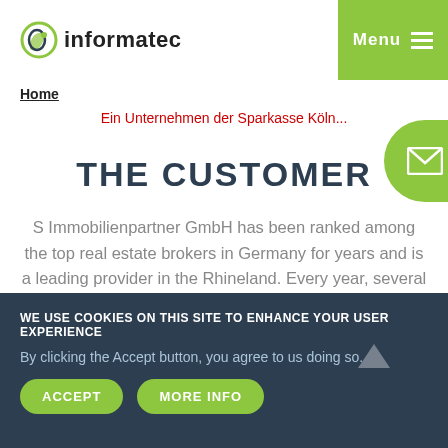[Figure (logo): Informatec logo with green circular icon and bold text 'informatec']
[Figure (other): Green menu button with 'Menu' text and hamburger icon]
Home
Ein Unternehmen der Sparkasse Köln...
[Figure (other): Green circular mail/envelope button on right side]
THE CUSTOMER
S Immobilienpartner GmbH has been ranked among the top real estate brokers in Germany for years and is a leading provider in the Rhineland. Every year, several thousand private and commercial customers and more than 100...
WE USE COOKIES ON THIS SITE TO ENHANCE YOUR USER EXPERIENCE
By clicking the Accept button, you agree to us doing so.
ACCEPT
MORE INFO